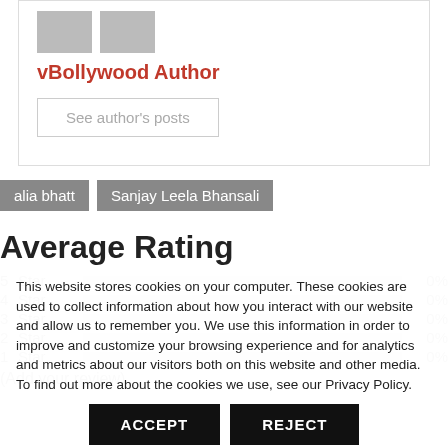[Figure (illustration): Author avatar placeholder image (gray silhouette)]
vBollywood Author
See author's posts
alia bhatt
Sanjay Leela Bhansali
Average Rating
5 Star 0%
4 Star 0%
3 Star 0%
2 Star 0%
1 Star 0%
(Add your review)
This website stores cookies on your computer. These cookies are used to collect information about how you interact with our website and allow us to remember you. We use this information in order to improve and customize your browsing experience and for analytics and metrics about our visitors both on this website and other media. To find out more about the cookies we use, see our Privacy Policy.
ACCEPT
REJECT